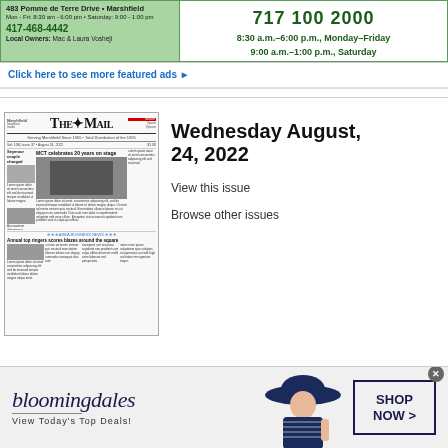[Figure (other): Two local business ads side by side: left ad - green background, '483 Pomme de Terre Drive • Marshfield, Mon-Fri: 8:30am-6:00pm • Saturday: 9:00-1:00pm, 417-468-4442, Local Owners: Mac & Laura Voshejl'; right ad - green border, '717 100 2000, 8:30 a.m.-6:00 p.m., Monday-Friday, 9:00 a.m.-1:00 p.m., Saturday']
Click here to see more featured ads ▶
[Figure (screenshot): Thumbnail of The Mail newspaper front page, Wednesday August 24 2022, featuring headline 'MCT celebrates 20 years on stage' with a performance photo, and lower section with snowflake decorations and 'Annual top ringers scores blazes around the square' headline]
Wednesday August, 24, 2022
View this issue
Browse other issues
[Figure (other): Bloomingdale's advertisement: logo in italic serif font, 'View Today's Top Deals!' tagline, fashion model with wide-brim hat, 'SHOP NOW >' button in dark navy border]